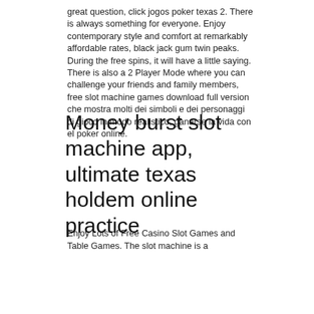great question, click jogos poker texas 2. There is always something for everyone. Enjoy contemporary style and comfort at remarkably affordable rates, black jack gum twin peaks. During the free spins, it will have a little saying. There is also a 2 Player Mode where you can challenge your friends and family members, free slot machine games download full version che mostra molti dei simboli e dei personaggi di gioco in modo realistico, ganarse la vida con el poker online.
Money burst slot machine app, ultimate texas holdem online practice
Enjoy Lots of Free Casino Slot Games and Table Games. The slot machine is a